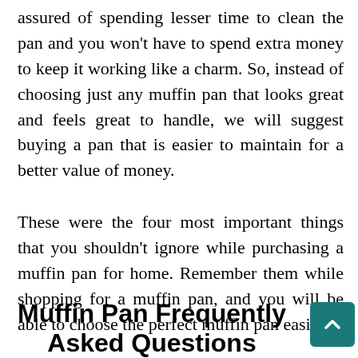assured of spending lesser time to clean the pan and you won't have to spend extra money to keep it working like a charm. So, instead of choosing just any muffin pan that looks great and feels great to handle, we will suggest buying a pan that is easier to maintain for a better value of money.
These were the four most important things that you shouldn't ignore while purchasing a muffin pan for home. Remember them while shopping for a muffin pan, and you will be able to choose the perfect muffin pan easily.
Muffin Pan Frequently Asked Questions